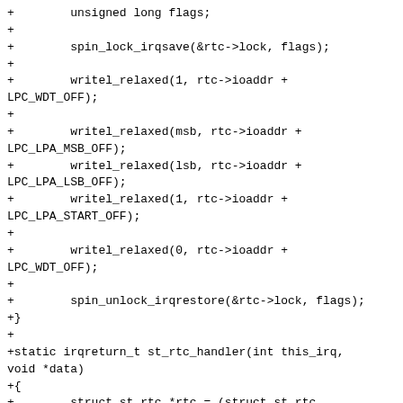+        unsigned long flags;
+
+        spin_lock_irqsave(&rtc->lock, flags);
+
+        writel_relaxed(1, rtc->ioaddr +
LPC_WDT_OFF);
+
+        writel_relaxed(msb, rtc->ioaddr +
LPC_LPA_MSB_OFF);
+        writel_relaxed(lsb, rtc->ioaddr +
LPC_LPA_LSB_OFF);
+        writel_relaxed(1, rtc->ioaddr +
LPC_LPA_START_OFF);
+
+        writel_relaxed(0, rtc->ioaddr +
LPC_WDT_OFF);
+
+        spin_unlock_irqrestore(&rtc->lock, flags);
+}
+
+static irqreturn_t st_rtc_handler(int this_irq,
void *data)
+{
+        struct st_rtc *rtc = (struct st_rtc
*)data;
+
+        rtc_update_irq(rtc->rtc_dev, 1, RTC_AF);
+
+        return IRQ_HANDLED;
+}